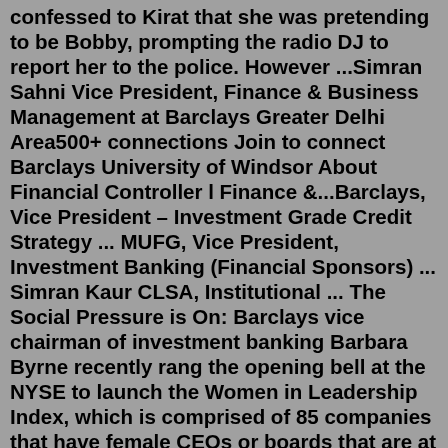confessed to Kirat that she was pretending to be Bobby, prompting the radio DJ to report her to the police. However ...Simran Sahni Vice President, Finance & Business Management at Barclays Greater Delhi Area500+ connections Join to connect Barclays University of Windsor About Financial Controller l Finance &...Barclays, Vice President – Investment Grade Credit Strategy ... MUFG, Vice President, Investment Banking (Financial Sponsors) ... Simran Kaur CLSA, Institutional ... The Social Pressure is On: Barclays vice chairman of investment banking Barbara Byrne recently rang the opening bell at the NYSE to launch the Women in Leadership Index, which is comprised of 85 companies that have female CEOs or boards that are at least 25% female.The idea is to create social pressure on companies to be more inclusive and supporting of women in the workplace and at the ...View Kanwar Simran Chauhan's profile on LinkedIn, the world's largest professional community. Kanwar Simran has 2 jobs listed on their profile. See the complete profile on LinkedIn and